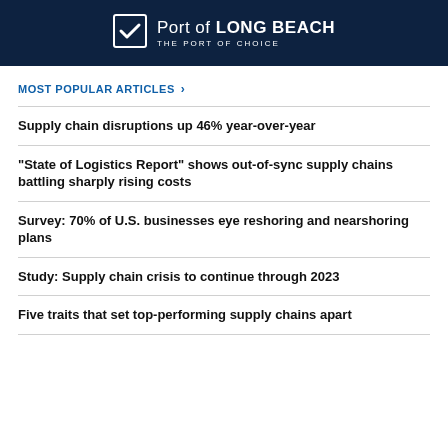[Figure (logo): Port of Long Beach logo — white checkmark in square on dark navy background, text: Port of LONG BEACH, THE PORT OF CHOICE]
MOST POPULAR ARTICLES >
Supply chain disruptions up 46% year-over-year
“State of Logistics Report” shows out-of-sync supply chains battling sharply rising costs
Survey: 70% of U.S. businesses eye reshoring and nearshoring plans
Study: Supply chain crisis to continue through 2023
Five traits that set top-performing supply chains apart